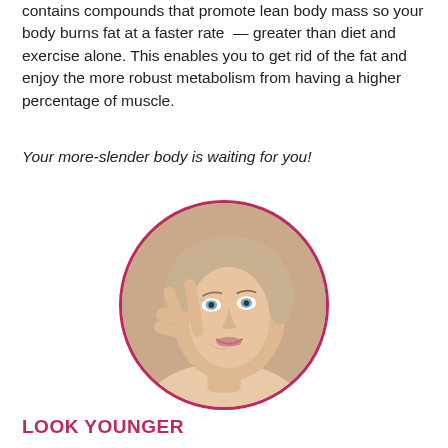contains compounds that promote lean body mass so your body burns fat at a faster rate — greater than diet and exercise alone. This enables you to get rid of the fat and enjoy the more robust metabolism from having a higher percentage of muscle.
Your more-slender body is waiting for you!
[Figure (photo): Circular photo of a middle-aged woman smiling, making a V-sign near her eye, with a pink/magenta circular border.]
LOOK YOUNGER